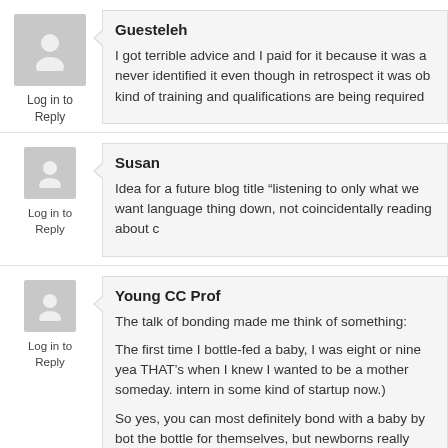Guesteleh
Log in to Reply
I got terrible advice and I paid for it because it was a never identified it even though in retrospect it was ob kind of training and qualifications are being required
Susan
Log in to Reply
Idea for a future blog title “listening to only what we want language thing down, not coincidentally reading about c
Young CC Prof
Log in to Reply
The talk of bonding made me think of something:

The first time I bottle-fed a baby, I was eight or nine yea THAT’s when I knew I wanted to be a mother someday. intern in some kind of startup now.)

So yes, you can most definitely bond with a baby by bot the bottle for themselves, but newborns really need to be